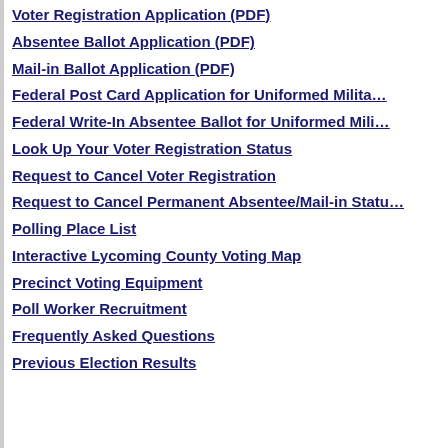Voter Registration Application (PDF)
Absentee Ballot Application (PDF)
Mail-in Ballot Application (PDF)
Federal Post Card Application for Uniformed Milita…
Federal Write-In Absentee Ballot for Uniformed Mili…
Look Up Your Voter Registration Status
Request to Cancel Voter Registration
Request to Cancel Permanent Absentee/Mail-in Statu…
Polling Place List
Interactive Lycoming County Voting Map
Precinct Voting Equipment
Poll Worker Recruitment
Frequently Asked Questions
Previous Election Results